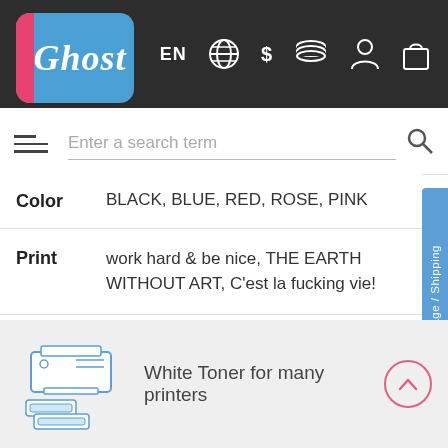Ghost — EN $ [globe icon] [coins icon] [user icon] [bag icon]
Enter a search term
| Attribute | Value |
| --- | --- |
| Color | BLACK, BLUE, RED, ROSE, PINK |
| Print | work hard & be nice, THE EARTH WITHOUT ART, C'est la fucking vie! |
| Brand | Ghost |
Language / Shipping
[Figure (illustration): Blue line-art illustration of a printer with toner cartridges]
White Toner for many printers